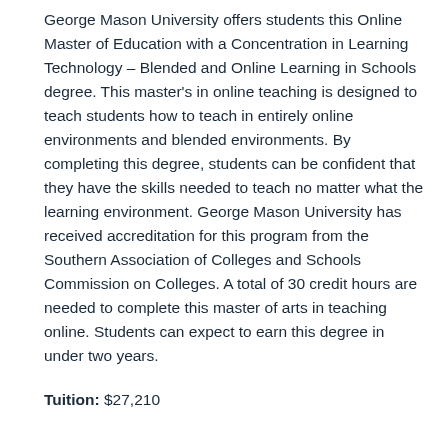George Mason University offers students this Online Master of Education with a Concentration in Learning Technology – Blended and Online Learning in Schools degree. This master's in online teaching is designed to teach students how to teach in entirely online environments and blended environments. By completing this degree, students can be confident that they have the skills needed to teach no matter what the learning environment. George Mason University has received accreditation for this program from the Southern Association of Colleges and Schools Commission on Colleges. A total of 30 credit hours are needed to complete this master of arts in teaching online. Students can expect to earn this degree in under two years.
Tuition: $27,210